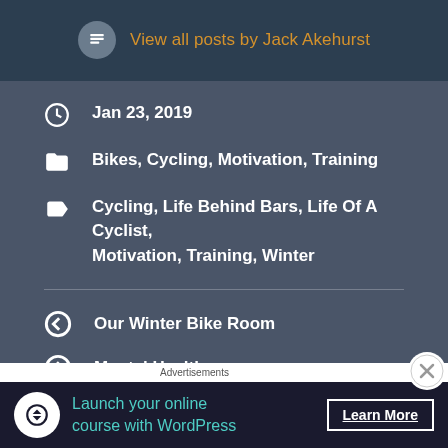View all posts by Jack Akehurst
Jan 23, 2019
Bikes, Cycling, Motivation, Training
Cycling, Life Behind Bars, Life Of A Cyclist, Motivation, Training, Winter
Our Winter Bike Room
Mental Health
5 thoughts on “What Keeps
Advertisements
Launch your online course with WordPress
Learn More